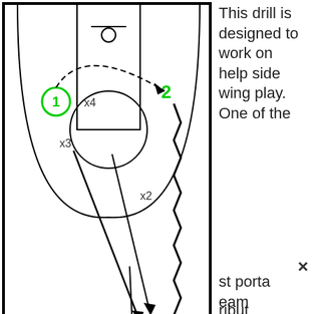[Figure (other): Basketball court diagram showing a drill with players labeled 1 (green circle), 2, 3, 4 (green numbers), and defenders x1, x2, x3, x4, x5. Arrows and a dashed line show player and ball movement for a help-side wing play drill.]
This drill is designed to work on help side wing play. One of the st porta eam ribut
[Figure (infographic): Advertisement bar: Shop Back To School Deals - Leesburg Premium Outlets, with navigation arrow icon and back/close buttons]